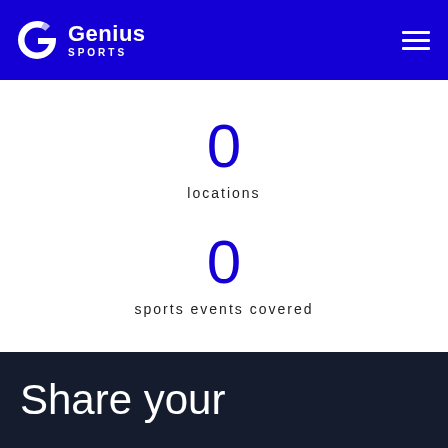[Figure (logo): Genius Sports logo with blue background, white G icon and white text]
0
locations
0
sports events covered
Share your